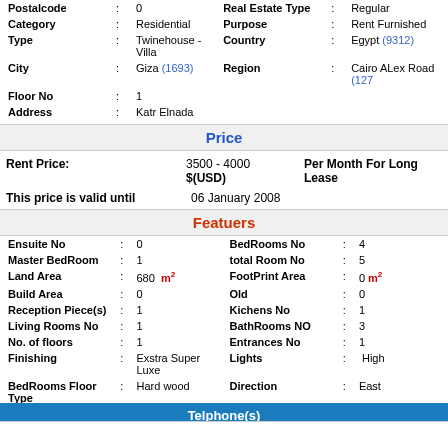| Postalcode | 0 | Real Estate Type | Regular |
| Category | Residential | Purpose | Rent Furnished |
| Type | Twinehouse - Villa | Country | Egypt (9312) |
| City | Giza (1693) | Region | Cairo ALex Road (127) |
| Floor No | 1 |  |  |
| Address | Katr Elnada |  |  |
Price
Rent Price: 3500 - 4000 $(USD) Per Month For Long Lease
This price is valid until 06 January 2008
Featuers
| Ensuite No | 0 | BedRooms No | 4 |
| Master BedRoom | 1 | total Room No | 5 |
| Land Area | 680 m2 | FootPrint Area | 0 m2 |
| Build Area | 0 | Old | 0 |
| Reception Piece(s) | 1 | Kichens No | 1 |
| Living Rooms No | 1 | BathRooms NO | 3 |
| No. of floors | 1 | Entrances No | 1 |
| Finishing | Exstra Super Luxe | Lights | High |
| BedRooms Floor Type | Hard wood | Direction | East |
| Reception Floor Type | Ceramic |  |  |
Telphone(s)